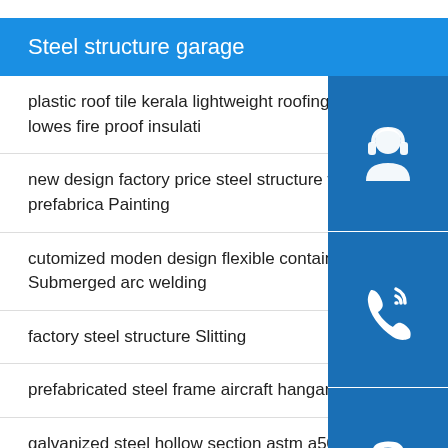Steel structure garage
plastic roof tile kerala lightweight roofing materia lowes fire proof insulati
new design factory price steel structure worksho prefabrica Painting
cutomized moden design flexible container hous Submerged arc welding
factory steel structure Slitting
prefabricated steel frame aircraft hangar Grinding
galvanized steel hollow section astm a500 en10219